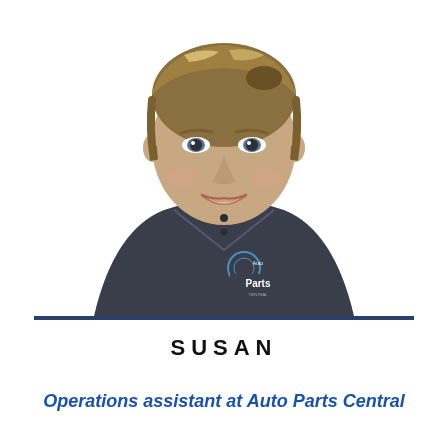[Figure (photo): Headshot portrait of a woman named Susan wearing a dark navy/charcoal polo shirt with an 'Auto Parts Central' logo embroidered on it. She has blonde-streaked hair pulled back, is smiling, and is photographed against a white background.]
SUSAN
Operations assistant at Auto Parts Central